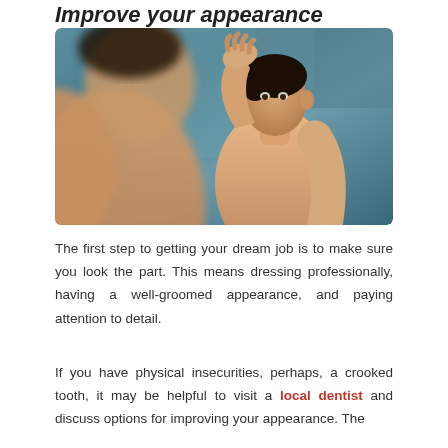Improve your appearance
[Figure (photo): A shirtless man looking at himself in a mirror, with teal/blue background, showing a grooming/appearance concept.]
The first step to getting your dream job is to make sure you look the part. This means dressing professionally, having a well-groomed appearance, and paying attention to detail.
If you have physical insecurities, perhaps, a crooked tooth, it may be helpful to visit a local dentist and discuss options for improving your appearance. The